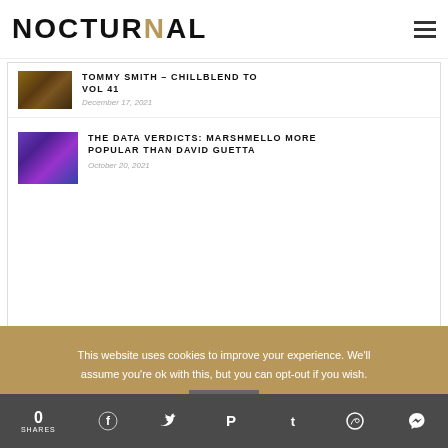NOCTURNAL
[Figure (photo): Thumbnail image with warm brown tones]
TOMMY SMITH – CHILLBLEND TO VOL 41
December 17, 2021
[Figure (photo): Thumbnail image of Marshmello with purple/blue stage lights]
THE DATA VERDICTS: MARSHMELLO MORE POPULAR THAN DAVID GUETTA
October 20, 2021
FEATURED
This website uses cookies to improve your experience. We'll assume you're ok with this, but you can opt-out if you wish.
0 SHARES  Facebook  Twitter  Pinterest  Tumblr  WhatsApp  Messenger